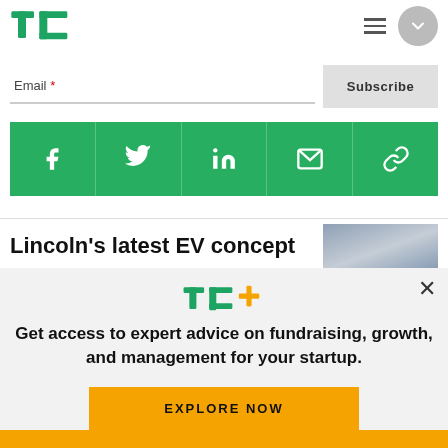TechCrunch logo, hamburger menu, user avatar
Email *
Subscribe
[Figure (infographic): Green social share bar with icons for Facebook, Twitter, LinkedIn, Email, and Link/Copy]
Lincoln’s latest EV concept
[Figure (photo): Thumbnail of Lincoln EV concept car]
[Figure (logo): TC+ logo in green and yellow]
Get access to expert advice on fundraising, growth, and management for your startup.
EXPLORE NOW